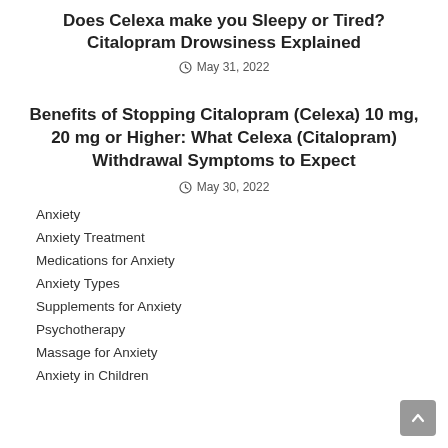Does Celexa make you Sleepy or Tired? Citalopram Drowsiness Explained
May 31, 2022
Benefits of Stopping Citalopram (Celexa) 10 mg, 20 mg or Higher: What Celexa (Citalopram) Withdrawal Symptoms to Expect
May 30, 2022
Anxiety
Anxiety Treatment
Medications for Anxiety
Anxiety Types
Supplements for Anxiety
Psychotherapy
Massage for Anxiety
Anxiety in Children